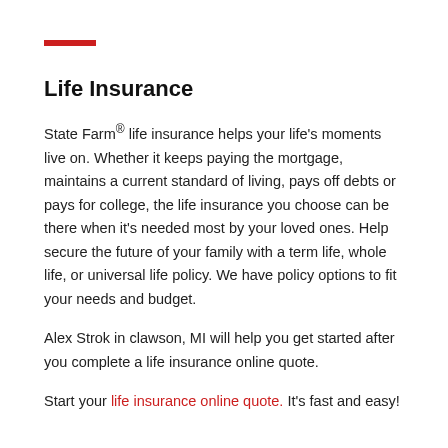Life Insurance
State Farm® life insurance helps your life's moments live on. Whether it keeps paying the mortgage, maintains a current standard of living, pays off debts or pays for college, the life insurance you choose can be there when it's needed most by your loved ones. Help secure the future of your family with a term life, whole life, or universal life policy. We have policy options to fit your needs and budget.
Alex Strok in clawson, MI will help you get started after you complete a life insurance online quote.
Start your life insurance online quote. It's fast and easy!